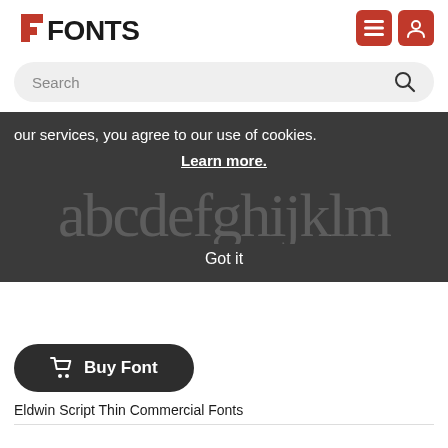FONTS
Search
our services, you agree to our use of cookies. Learn more.
[Figure (other): Script font preview showing 'abcdefghijklm' in cursive/script style, shown faintly in background]
Got it
[Figure (other): Buy Font button with shopping cart icon]
Eldwin Script Thin Commercial Fonts